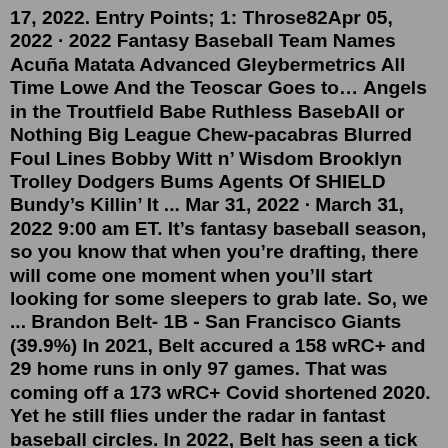17, 2022. Entry Points; 1: Throse82Apr 05, 2022 · 2022 Fantasy Baseball Team Names Acuña Matata Advanced Gleybermetrics All Time Lowe And the Teoscar Goes to… Angels in the Troutfield Babe Ruthless BasebAll or Nothing Big League Chew-pacabras Blurred Foul Lines Bobby Witt n' Wisdom Brooklyn Trolley Dodgers Bums Agents Of SHIELD Bundy's Killin' It ... Mar 31, 2022 · March 31, 2022 9:00 am ET. It's fantasy baseball season, so you know that when you're drafting, there will come one moment when you'll start looking for some sleepers to grab late. So, we ... Brandon Belt- 1B - San Francisco Giants (39.9%) In 2021, Belt accured a 158 wRC+ and 29 home runs in only 97 games. That was coming off a 173 wRC+ Covid shortened 2020. Yet he still flies under the radar in fantast baseball circles. In 2022, Belt has seen a tick down in his barrel percentage from 17% in 2021 to 11.4%.Seiya Suzuki. Roansy Contreras. Jesse Winker. Jarred Kelenic. The first and most important thing we can tell you about drafting rookies in your fantasy baseball leagues is